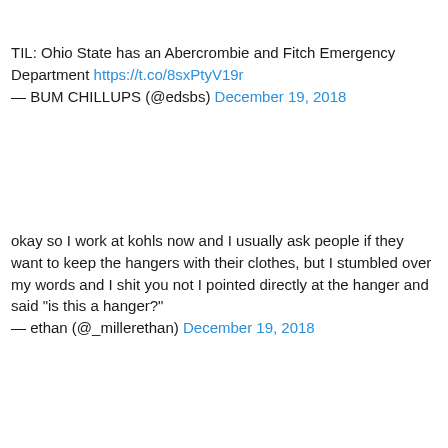TIL: Ohio State has an Abercrombie and Fitch Emergency Department https://t.co/8sxPtyV19r — BUM CHILLUPS (@edsbs) December 19, 2018
okay so I work at kohls now and I usually ask people if they want to keep the hangers with their clothes, but I stumbled over my words and I shit you not I pointed directly at the hanger and said "is this a hanger?" — ethan (@_millerethan) December 19, 2018